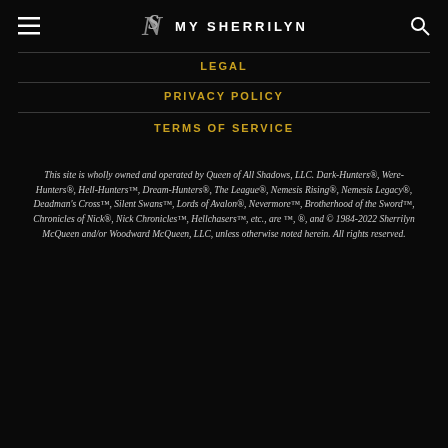My Sherrilyn
LEGAL
PRIVACY POLICY
TERMS OF SERVICE
This site is wholly owned and operated by Queen of All Shadows, LLC. Dark-Hunters®, Were-Hunters®, Hell-Hunters™, Dream-Hunters®, The League®, Nemesis Rising®, Nemesis Legacy®, Deadman's Cross™, Silent Swans™, Lords of Avalon®, Nevermore™, Brotherhood of the Sword™, Chronicles of Nick®, Nick Chronicles™, Hellchasers™, etc., are ™, ®, and © 1984-2022 Sherrilyn McQueen and/or Woodward McQueen, LLC, unless otherwise noted herein. All rights reserved.